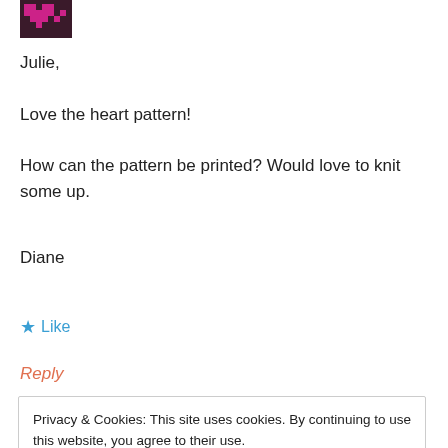[Figure (illustration): Small pixel-art avatar icon with pink/magenta color on dark background, top-left corner]
Julie,

Love the heart pattern!

How can the pattern be printed? Would love to knit some up.
Diane
★ Like
Reply
Privacy & Cookies: This site uses cookies. By continuing to use this website, you agree to their use.
To find out more, including how to control cookies, see here: Cookie Policy
Close and accept